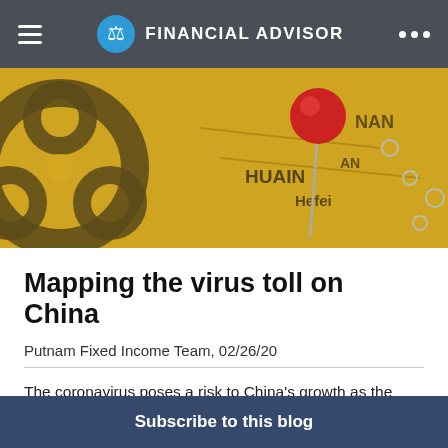FINANCIAL ADVISOR
[Figure (photo): A red map pin placed on a yellow map of China showing cities including Huainan and Hefei, with a biohazard symbol visible on the left side.]
Mapping the virus toll on China
Putnam Fixed Income Team, 02/26/20
The coronavirus poses a risk to China's growth as the government races to contain the outbreak, and the global economy could suffer from disruptions in business activity.
Subscribe to this blog